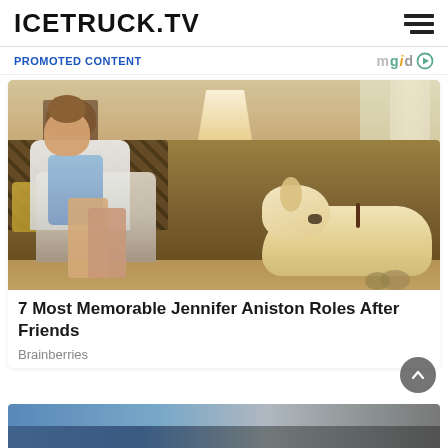ICETRUCK.TV
PROMOTED CONTENT
[Figure (photo): Woman sitting on a sofa with a golden Labrador dog resting its head on her lap, in a cozy living room with a lamp in the background. Promotional image for article about Jennifer Aniston roles.]
7 Most Memorable Jennifer Aniston Roles After Friends
Brainberries
[Figure (photo): Partial view of a second promoted content card at the bottom of the page, showing a street scene.]